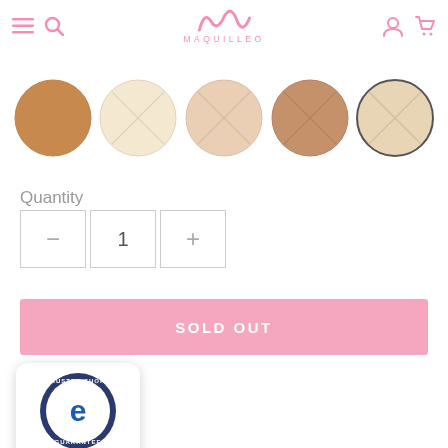MAQUILLEO — navigation header with hamburger menu, search, logo, account and cart icons
[Figure (illustration): Five circular makeup powder swatches in shades: dark tan/brown (solid fill), very light cream (with X diagonal lines), light peach (with X diagonal lines), medium tan/caramel (with X diagonal lines), very light beige with dark border (with X diagonal lines)]
Quantity
[Figure (infographic): Quantity selector with minus button, value '1', and plus button]
[Figure (illustration): Pink 'SOLD OUT' button]
[Figure (logo): Trusted Shops badge with 'e' logo, 5 gold stars, and rating 4,81]